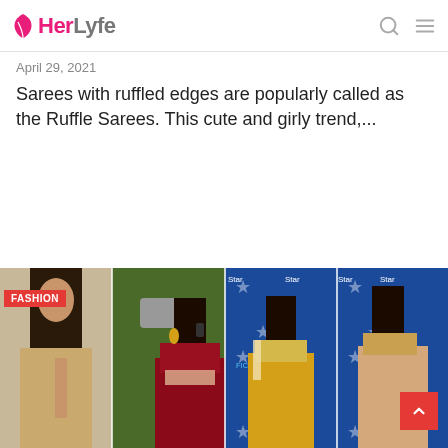HerLyfe
April 29, 2021
Sarees with ruffled edges are popularly called as the Ruffle Sarees. This cute and girly trend,...
[Figure (photo): Four women wearing sarees at events: first in beige/gold saree, second in red satin saree with FASHION badge overlay, third in yellow satin saree at a Star/FICCI branded backdrop, fourth in peach/gold saree at a similar branded backdrop.]